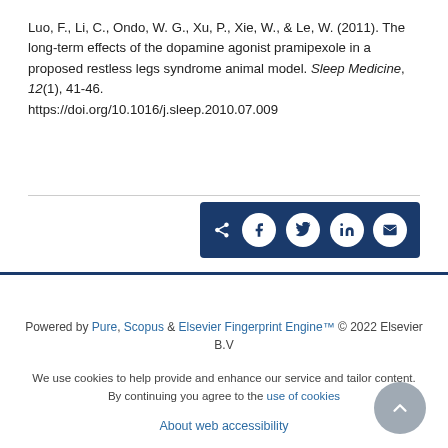Luo, F., Li, C., Ondo, W. G., Xu, P., Xie, W., & Le, W. (2011). The long-term effects of the dopamine agonist pramipexole in a proposed restless legs syndrome animal model. Sleep Medicine, 12(1), 41-46. https://doi.org/10.1016/j.sleep.2010.07.009
[Figure (other): Social share bar with icons for share, Facebook, Twitter, LinkedIn, and email on a dark blue background]
Powered by Pure, Scopus & Elsevier Fingerprint Engine™ © 2022 Elsevier B.V
We use cookies to help provide and enhance our service and tailor content. By continuing you agree to the use of cookies
About web accessibility
Contact us